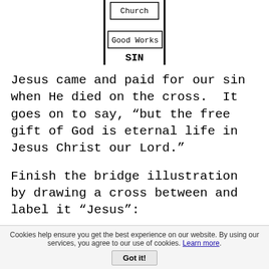[Figure (schematic): A bridge/ladder diagram showing two vertical lines with horizontal rungs labeled 'Church' and 'Good Works', and the word 'SIN' in bold at the bottom center between the verticals.]
Jesus came and paid for our sin when He died on the cross.  It goes on to say, “but the free gift of God is eternal life in Jesus Christ our Lord.”
Finish the bridge illustration by drawing a cross between and label it “Jesus”:
Also…walk over to the student on the chair and
Cookies help ensure you get the best experience on our website. By using our services, you agree to our use of cookies. Learn more.